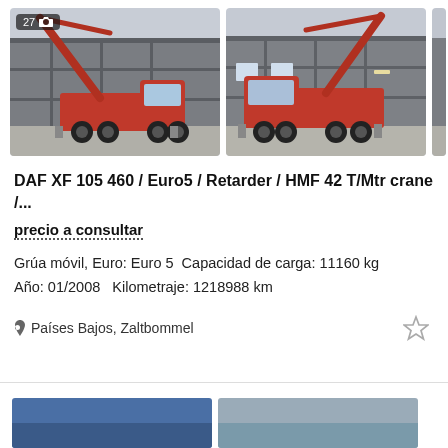[Figure (photo): Red DAF XF 105 truck with a large red HMF crane arm extended upward, parked in front of an industrial building. Badge shows '27' photos.]
[Figure (photo): Same red DAF XF 105 truck with crane arm, side/front view, parked in front of an industrial building.]
DAF XF 105 460 / Euro5 / Retarder / HMF 42 T/Mtr crane /...
precio a consultar
Grúa móvil, Euro: Euro 5  Capacidad de carga: 11160 kg
Año: 01/2008   Kilometraje: 1218988 km
Países Bajos, Zaltbommel